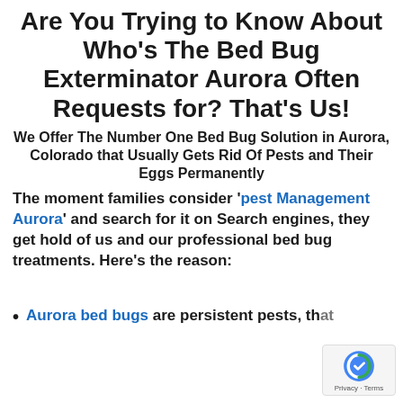Are You Trying to Know About Who’s The Bed Bug Exterminator Aurora Often Requests for? That’s Us!
We Offer The Number One Bed Bug Solution in Aurora, Colorado that Usually Gets Rid Of Pests and Their Eggs Permanently
The moment families consider ‘pest Management Aurora’ and search for it on Search engines, they get hold of us and our professional bed bug treatments. Here’s the reason:
Aurora bed bugs are persistent pests, that…